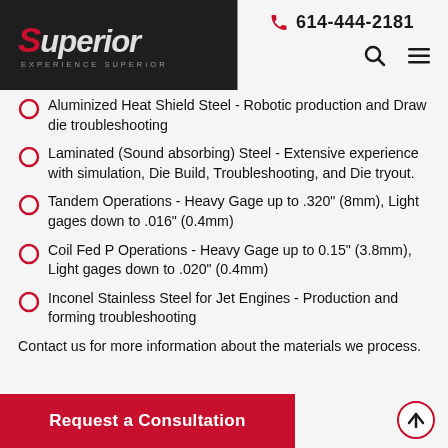[Figure (logo): Superior logo with tagline EXPERIENCE SUPERIOR on dark background]
Aluminized Heat Shield Steel - Robotic production and Draw die troubleshooting
Laminated (Sound absorbing) Steel - Extensive experience with simulation, Die Build, Troubleshooting, and Die tryout.
Tandem Operations - Heavy Gage up to .320" (8mm), Light gages down to .016" (0.4mm)
Coil Fed P Operations - Heavy Gage up to 0.15" (3.8mm), Light gages down to .020" (0.4mm)
Inconel Stainless Steel for Jet Engines - Production and forming troubleshooting
Contact us for more information about the materials we process.
Request a Consultation